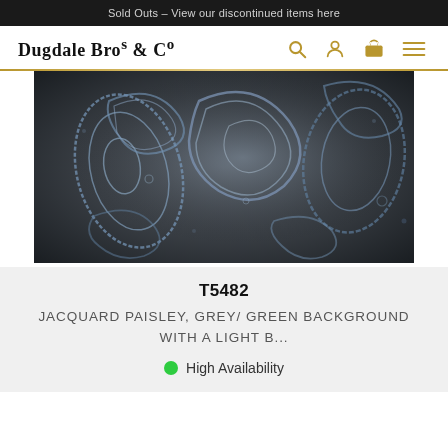Sold Outs – View our discontinued items here
Dugdale Bros & Co
[Figure (photo): Close-up photograph of a jacquard paisley fabric with grey/green background and light blue paisley pattern]
T5482
JACQUARD PAISLEY, GREY/ GREEN BACKGROUND WITH A LIGHT B...
High Availability